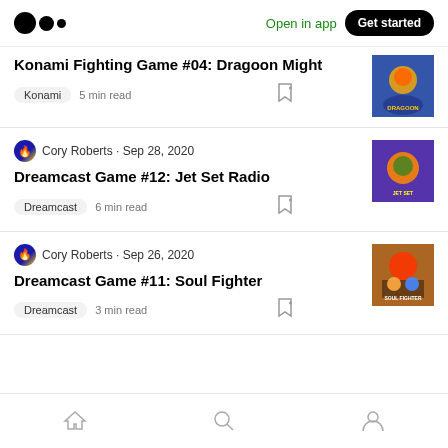Medium logo | Open in app | Get started
Konami Fighting Game #04: Dragoon Might
Konami  5 min read
Cory Roberts · Sep 28, 2020
Dreamcast Game #12: Jet Set Radio
Dreamcast  6 min read
Cory Roberts · Sep 26, 2020
Dreamcast Game #11: Soul Fighter
Dreamcast  3 min read
Home | Search | Profile